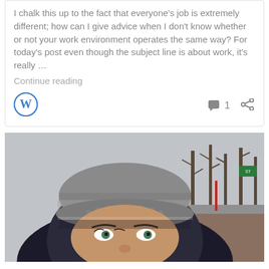I chalk this up to the fact that everyone's job is extremely different; how can I give advice when I don't know whether or not your work environment operates the same way? For today's post even though the subject line is about work, it's really … Continue reading
[Figure (photo): Outdoor winter selfie of a person wearing a dark hooded jacket and a gray knit hat/headband, trees visible in the background on a cold overcast day]